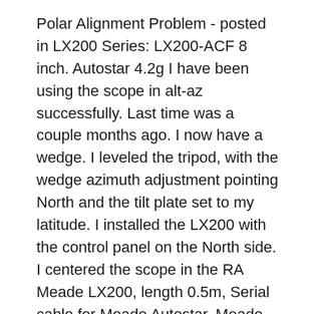Polar Alignment Problem - posted in LX200 Series: LX200-ACF 8 inch. Autostar 4.2g I have been using the scope in alt-az successfully. Last time was a couple months ago. I now have a wedge. I leveled the tripod, with the wedge azimuth adjustment pointing North and the tilt plate set to my latitude. I installed the LX200 with the control panel on the North side. I centered the scope in the RA Meade LX200, length 0.5m, Serial cable for Meade Autostar. Meade Lx200 Classic Manual Pdf. Download 208 Meade Telescope PDF Manuals for FREE. View Meade Telescope User Manuals. Operating Instructions. You can look at